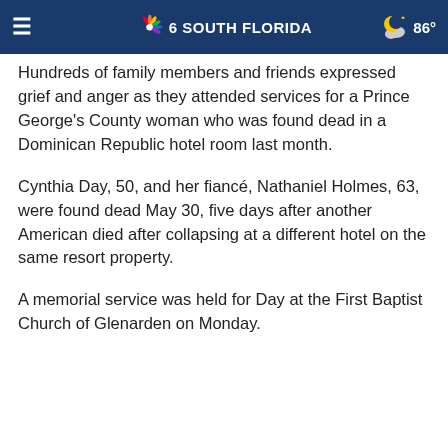NBC 6 SOUTH FLORIDA | 86°
Hundreds of family members and friends expressed grief and anger as they attended services for a Prince George's County woman who was found dead in a Dominican Republic hotel room last month.
Cynthia Day, 50, and her fiancé, Nathaniel Holmes, 63, were found dead May 30, five days after another American died after collapsing at a different hotel on the same resort property.
A memorial service was held for Day at the First Baptist Church of Glenarden on Monday.